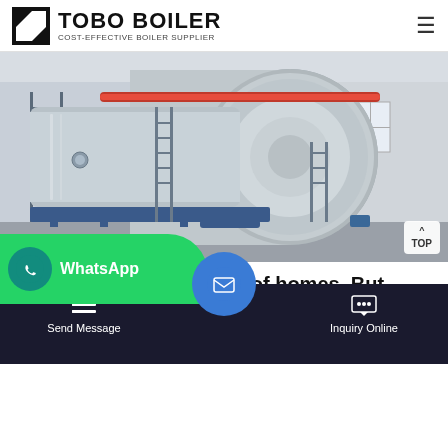TOBO BOILER — COST-EFFECTIVE BOILER SUPPLIER
[Figure (photo): Industrial gas boilers in a factory/warehouse setting — large cylindrical silver boiler tanks with blue metal supports and ladders, photographed indoors]
Gas boilers fuel millions of homes. But what can replace
ernment has said it plans to ban gas fro 5, with low carbon heating heir lt a